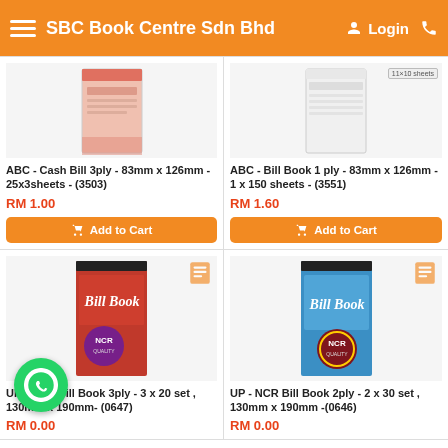SBC Book Centre Sdn Bhd
[Figure (photo): ABC Cash Bill 3ply book, pink/red cover, small booklet]
ABC - Cash Bill 3ply - 83mm x 126mm - 25x3sheets - (3503)
RM 1.00
Add to Cart
[Figure (photo): ABC Bill Book 1 ply, white/light cover with label]
ABC - Bill Book 1 ply - 83mm x 126mm - 1 x 150 sheets - (3551)
RM 1.60
Add to Cart
[Figure (photo): UP NCR Bill Book 3ply, red/orange cover with NCR badge, 3x20 set]
UP - NCR Bill Book 3ply - 3 x 20 set , 130mm x 190mm- (0647)
RM 0.00
[Figure (photo): UP NCR Bill Book 2ply, blue cover with NCR badge, 2x30 set]
UP - NCR Bill Book 2ply - 2 x 30 set , 130mm x 190mm -(0646)
RM 0.00